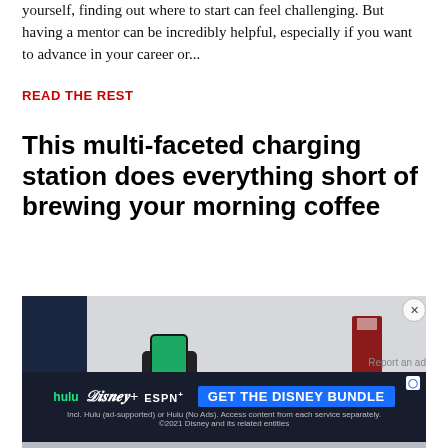yourself, finding out where to start can feel challenging. But having a mentor can be incredibly helpful, especially if you want to advance in your career or...
READ THE REST
This multi-faceted charging station does everything short of brewing your morning coffee
[Figure (photo): Photo of a multi-faceted charging station on a desk with a smartphone charging on it, set against a light background with some items in the background.]
Report an ad
[Figure (screenshot): Disney Bundle advertisement banner showing Hulu, Disney+, and ESPN+ logos with a blue 'GET THE DISNEY BUNDLE' call-to-action button and fine print about Hulu ad-supported or no ads options.]